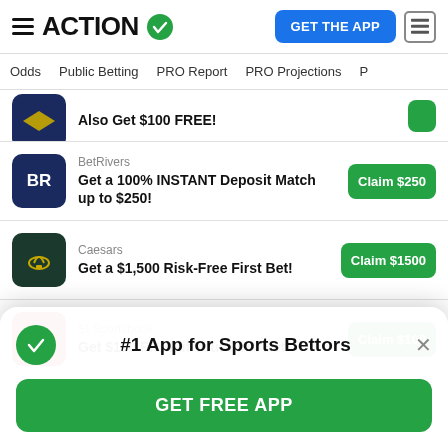ACTION — GET THE APP
Odds | Public Betting | PRO Report | PRO Projections
Also Get $100 FREE!
BetRivers — Get a 100% INSTANT Deposit Match up to $250! — Claim $250
Caesars — Get a $1,500 Risk-Free First Bet! — Claim $1500
SI Sportsbook — Get $100 FREE if Your First Bet — Claim $100
#1 App for Sports Bettors
GET FREE APP